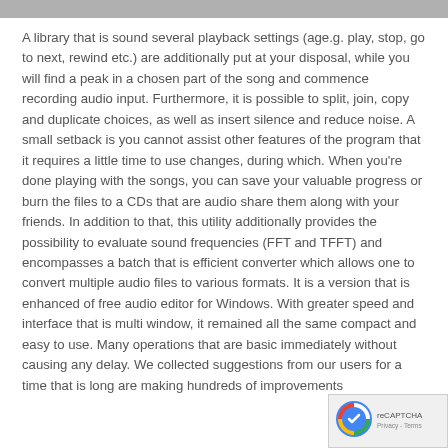A library that is sound several playback settings (age.g. play, stop, go to next, rewind etc.) are additionally put at your disposal, while you will find a peak in a chosen part of the song and commence recording audio input. Furthermore, it is possible to split, join, copy and duplicate choices, as well as insert silence and reduce noise. A small setback is you cannot assist other features of the program that it requires a little time to use changes, during which. When you’re done playing with the songs, you can save your valuable progress or burn the files to a CDs that are audio share them along with your friends. In addition to that, this utility additionally provides the possibility to evaluate sound frequencies (FFT and TFFT) and encompasses a batch that is efficient converter which allows one to convert multiple audio files to various formats. It is a version that is enhanced of free audio editor for Windows. With greater speed and interface that is multi window, it remained all the same compact and easy to use. Many operations that are basic immediately without causing any delay. We collected suggestions from our users for a time that is long are making hundreds of improvements